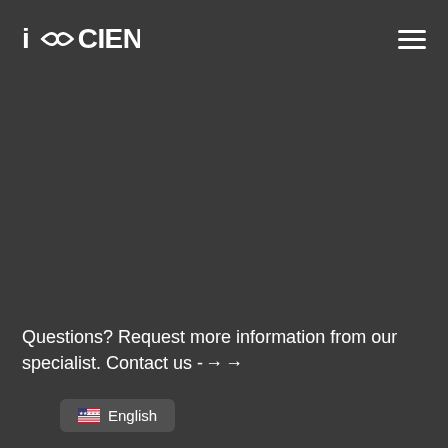iOOCIENCE
Questions? Request more information from our specialist. Contact us →·→
English